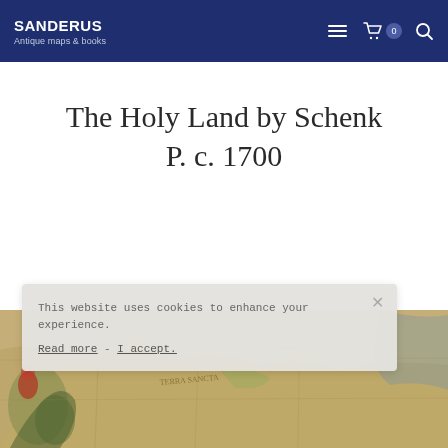SANDERUS Antique maps & books
The Holy Land by Schenk P. c. 1700
This website uses cookies to enhance your experience. Read more - I accept.
[Figure (map): Partial view of an antique map of the Holy Land, featuring aged cartographic styling with decorative elements on the left side]